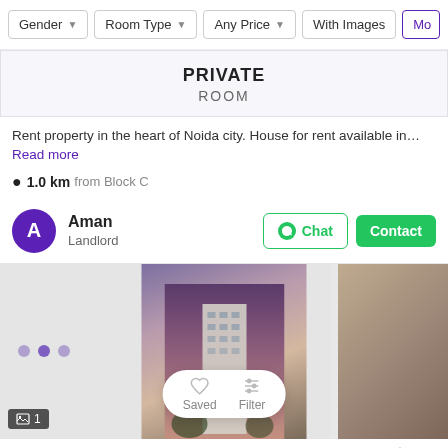Gender | Room Type | Any Price | With Images | More
PRIVATE ROOM
Rent property in the heart of Noida city. House for rent available in… Read more
1.0 km from Block C
Aman
Landlord
[Figure (photo): Property listing photo showing a tall building at dusk with dot navigation indicators]
PG 9017154 Sector 107 ↑
The 3C Lotus 300, Sector 107, Noida
₹00,000
GIRLS   BOYS